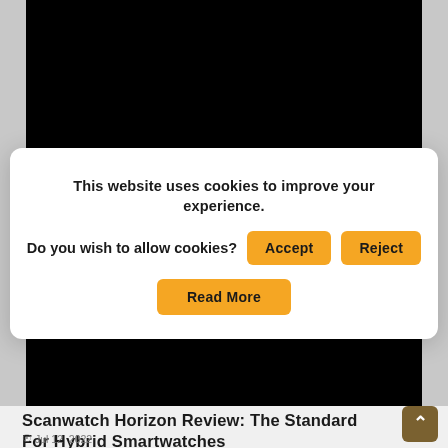[Figure (screenshot): Black image area at top of webpage, partially visible]
This website uses cookies to improve your experience. Do you wish to allow cookies?
Accept
Reject
Read More
[Figure (screenshot): Black image area below cookie dialog, partially visible]
Scanwatch Horizon Review: The Standard For Hybrid Smartwatches
Jul 12, 2022